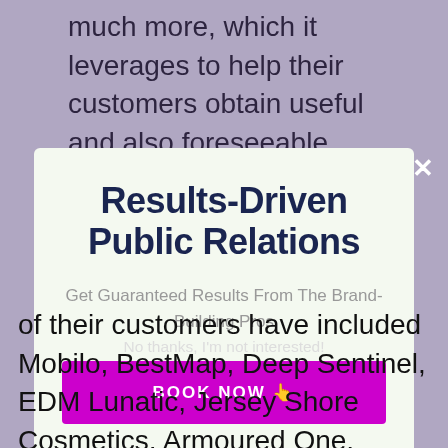much more, which it leverages to help their customers obtain useful and also foreseeable media insurance coverage. With this one-of-a-kind
Results-Driven Public Relations
Get Guaranteed Results From The Brand-Building Pros
BOOK NOW 👉
No thanks, I'm not interested!
of their customers have included Mobilo, BestMap, Deep Sentinel, EDM Lunatic, Jersey Shore Cosmetics, Armoured One, Ecalls, Hero Trainer